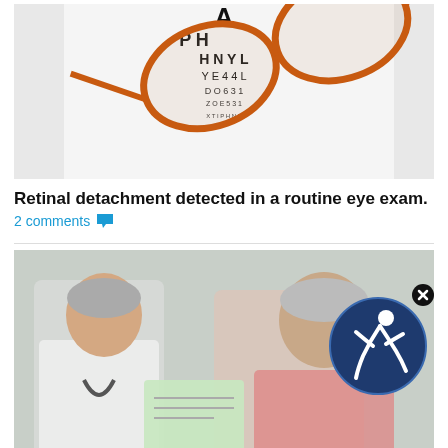[Figure (photo): Eye chart with orange-framed glasses resting on it]
Retinal detachment detected in a routine eye exam.
2 comments
[Figure (photo): Doctor in white coat consulting with older female patient, both looking at a document]
Diagnosing Diabetic Retinopathy
1 comments
[Figure (photo): Older man with glasses in a medical office setting]
[Figure (logo): Blue circular logo with white figure icon]